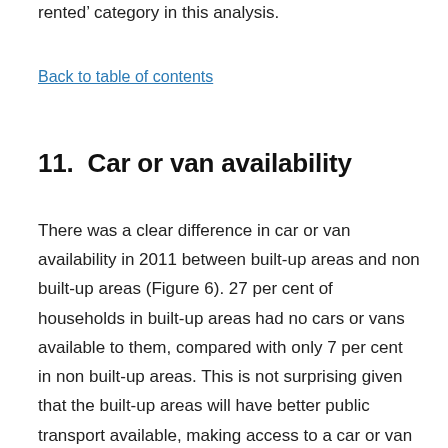rented' category in this analysis.
Back to table of contents
11.  Car or van availability
There was a clear difference in car or van availability in 2011 between built-up areas and non built-up areas (Figure 6). 27 per cent of households in built-up areas had no cars or vans available to them, compared with only 7 per cent in non built-up areas. This is not surprising given that the built-up areas will have better public transport available, making access to a car or van less of a necessity than in the non built-up areas